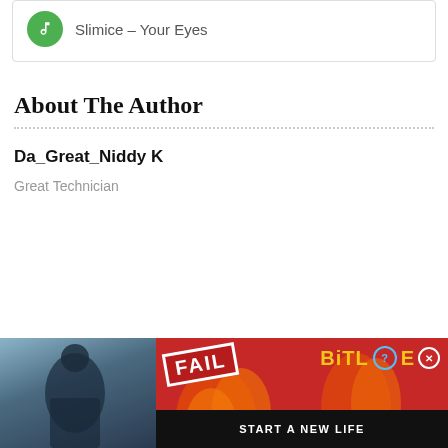Slimice – Your Eyes
About The Author
Da_Great_Niddy K
Great Technician
[Figure (infographic): Advertisement banner showing a photo on the left, a red background with 'FAIL' text and cartoon character, and a BitLife game advertisement on the right with 'START A NEW LIFE' text]